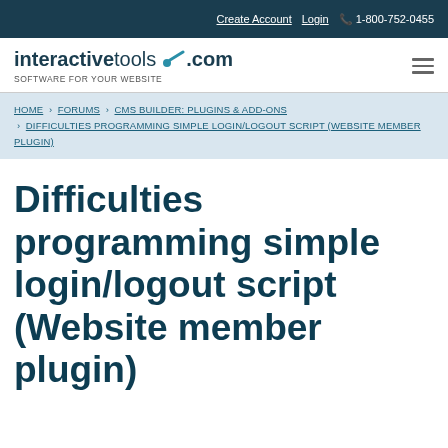Create Account  Login  1-800-752-0455
[Figure (logo): interactivetools.com logo with wrench icon and tagline SOFTWARE FOR YOUR WEBSITE]
HOME > FORUMS > CMS BUILDER: PLUGINS & ADD-ONS > DIFFICULTIES PROGRAMMING SIMPLE LOGIN/LOGOUT SCRIPT (WEBSITE MEMBER PLUGIN)
Difficulties programming simple login/logout script (Website member plugin)